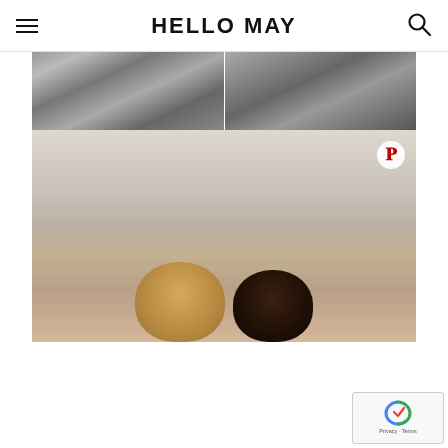HELLO MAY
[Figure (photo): Two black and white photos side by side showing partial figures/clothing details]
[Figure (photo): Color photograph of two women with heads close together against a light background, with a Pinterest icon overlay in the top right corner]